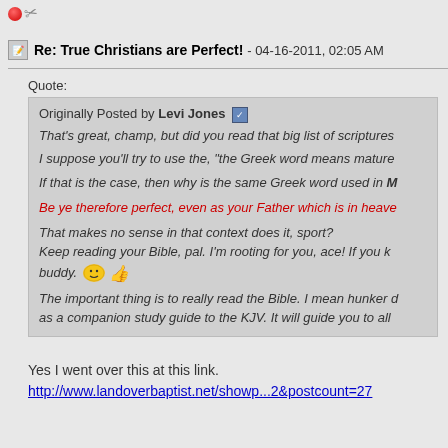[Figure (illustration): Small red circle icon and scissors/tool icon in top-left corner]
Re: True Christians are Perfect! - 04-16-2011, 02:05 AM
Quote:
Originally Posted by Levi Jones
That's great, champ, but did you read that big list of scriptures
I suppose you'll try to use the, "the Greek word means mature
If that is the case, then why is the same Greek word used in M
Be ye therefore perfect, even as your Father which is in heave
That makes no sense in that context does it, sport?
Keep reading your Bible, pal. I'm rooting for you, ace! If you k
buddy.
The important thing is to really read the Bible. I mean hunker d
as a companion study guide to the KJV. It will guide you to all
Yes I went over this at this link.
http://www.landoverbaptist.net/showp...2&postcount=27